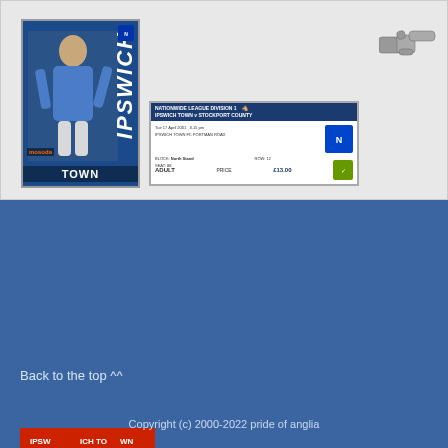[Figure (photo): Ipswich Town football programme cover showing player in blue and white kit with IPSWICH TOWN text]
[Figure (photo): Match ticket: Nationwide League Division 1, Ipswich Town vs Stockport County, Adult price £13.00]
[Figure (illustration): Hand pointing right icon (navigation arrow)]
[Figure (illustration): Ipswich Town FC badge/crest showing horse on blue and red background]
Back to the top ^^
Copyright (c) 2000-2022 pride of anglia